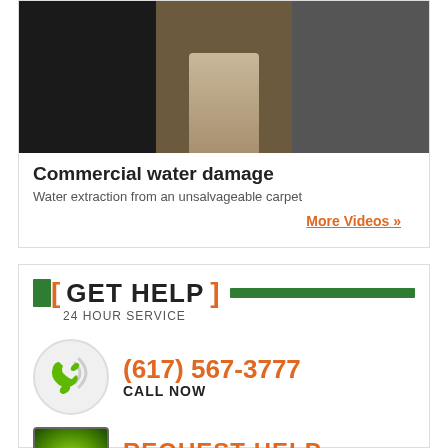[Figure (photo): Three-panel photo strip showing commercial water damage scenes: dark room on left, damaged carpet/flooring in center, gray scene on right]
Commercial water damage
Water extraction from an unsalvageable carpet
More Videos »
[ GET HELP ] 24 HOUR SERVICE
[Figure (illustration): Green phone handset icon with signal waves on circular background]
(617) 567-3777 CALL NOW
[Figure (illustration): Green radial gradient square icon for online request]
REQUEST HELP ONLINE